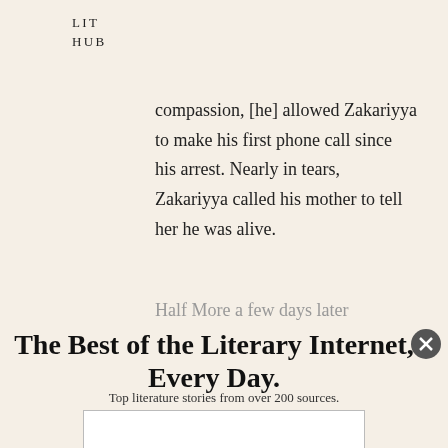LIT
HUB
compassion, [he] allowed Zakariyya to make his first phone call since his arrest. Nearly in tears, Zakariyya called his mother to tell her he was alive.
Half More a few days later
The Best of the Literary Internet, Every Day.
Top literature stories from over 200 sources.